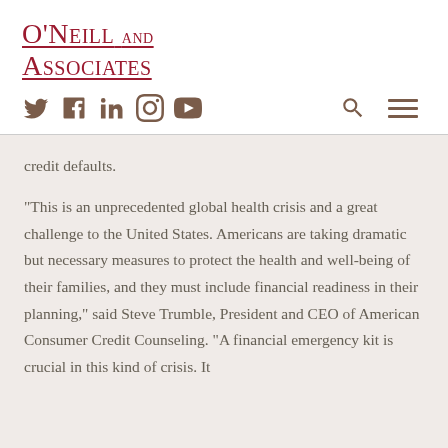O'Neill and Associates
credit defaults.
“This is an unprecedented global health crisis and a great challenge to the United States. Americans are taking dramatic but necessary measures to protect the health and well-being of their families, and they must include financial readiness in their planning,” said Steve Trumble, President and CEO of American Consumer Credit Counseling. “A financial emergency kit is crucial in this kind of crisis. It